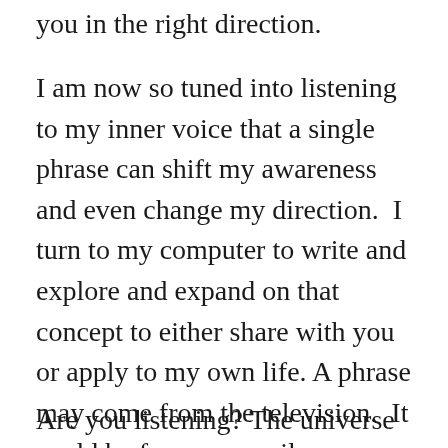you in the right direction.
I am now so tuned into listening to my inner voice that a single phrase can shift my awareness and even change my direction.  I turn to my computer to write and explore and expand on that concept to either share with you or apply to my own life. A phrase may come from the television.  It could be from an email, or a book, or the news. I explore the ideas the come from many forms but I always go exploring.
Are you listening? The universe is speaking to